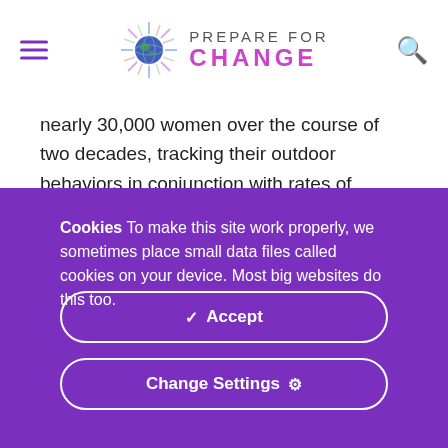PREPARE FOR CHANGE
nearly 30,000 women over the course of two decades, tracking their outdoor behaviors in conjunction with rates of cancer and early mortality. During this time, the women were asked to fill out questionnaires at certain intervals indicating how often they went to tanning salons or spent time outside in direct sunlight without sunscreen.
Cookies To make this site work properly, we sometimes place small data files called cookies on your device. Most big websites do this too.
✓ Accept
Change Settings ⚙